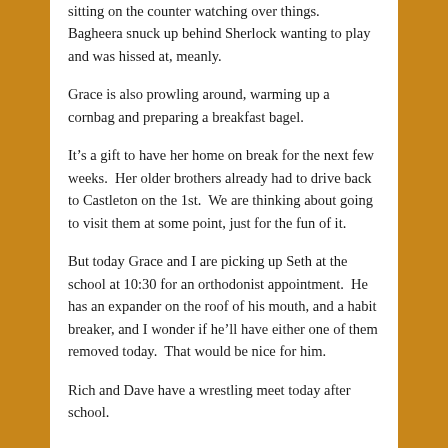sitting on the counter watching over things. Bagheera snuck up behind Sherlock wanting to play and was hissed at, meanly.
Grace is also prowling around, warming up a cornbag and preparing a breakfast bagel.
It's a gift to have her home on break for the next few weeks. Her older brothers already had to drive back to Castleton on the 1st. We are thinking about going to visit them at some point, just for the fun of it.
But today Grace and I are picking up Seth at the school at 10:30 for an orthodonist appointment. He has an expander on the roof of his mouth, and a habit breaker, and I wonder if he'll have either one of them removed today. That would be nice for him.
Rich and Dave have a wrestling meet today after school.